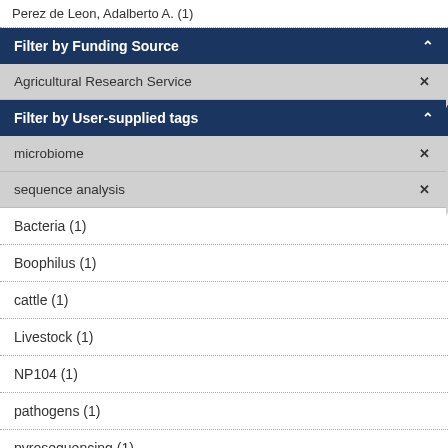Perez de Leon, Adalberto A. (1)
Filter by Funding Source
Agricultural Research Service ×
Filter by User-supplied tags
microbiome ×
sequence analysis ×
Bacteria (1)
Boophilus (1)
cattle (1)
Livestock (1)
NP104 (1)
pathogens (1)
pyrosequencing (1)